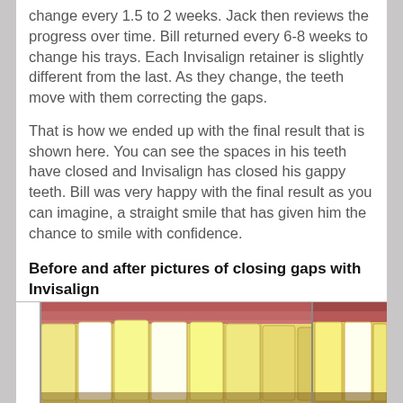change every 1.5 to 2 weeks. Jack then reviews the progress over time. Bill returned every 6-8 weeks to change his trays. Each Invisalign retainer is slightly different from the last. As they change, the teeth move with them correcting the gaps.
That is how we ended up with the final result that is shown here. You can see the spaces in his teeth have closed and Invisalign has closed his gappy teeth. Bill was very happy with the final result as you can imagine, a straight smile that has given him the chance to smile with confidence.
Before and after pictures of closing gaps with Invisalign
[Figure (photo): Before and after dental photos showing teeth alignment. Left photo shows teeth after Invisalign treatment with gaps closed. Right photo partially visible showing another angle.]